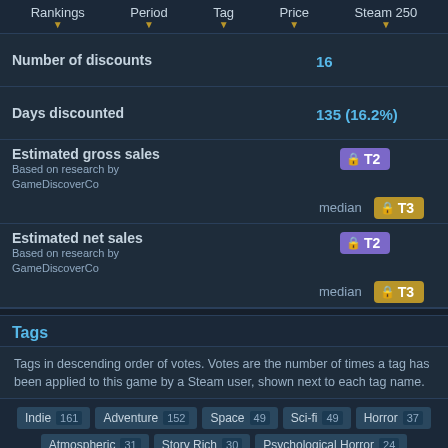Rankings | Period | Tag | Price | Steam 250
Number of discounts: 16
Days discounted: 135 (16.2%)
Estimated gross sales - Based on research by GameDiscoverCo - [locked T2] [locked T3 median]
Estimated net sales - Based on research by GameDiscoverCo - [locked T2] [locked T3 median]
Tags
Tags in descending order of votes. Votes are the number of times a tag has been applied to this game by a Steam user, shown next to each tag name.
Indie 161
Adventure 152
Space 49
Sci-fi 49
Horror 37
Atmospheric 31
Story Rich 30
Psychological Horror 24
Thriller 23
Singleplayer 23
Puzzle 22
Artificial Intelligence 22
BELOW THRESHOLD
Female Protagonist 19
Mystery 14
Walking Simulator 10
BOTTOM